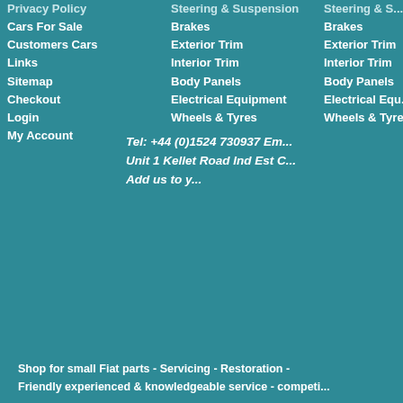Privacy Policy
Cars For Sale
Customers Cars
Links
Sitemap
Checkout
Login
My Account
Steering & Suspension
Brakes
Exterior Trim
Interior Trim
Body Panels
Electrical Equipment
Wheels & Tyres
Steering & S...
Brakes
Exterior Trim
Interior Trim
Body Panels
Electrical Equ...
Wheels & Tyre...
Tel: +44 (0)1524 730937 Em... Unit 1 Kellet Road Ind Est C... Add us to y...
Shop for small Fiat parts - Servicing - Restoration - Friendly experienced & knowledgeable service - competi...